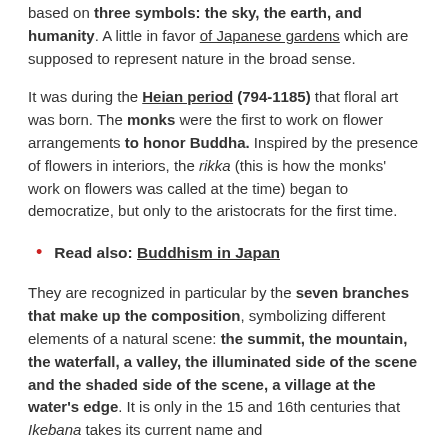based on three symbols: the sky, the earth, and humanity. A little in favor of Japanese gardens which are supposed to represent nature in the broad sense.
It was during the Heian period (794-1185) that floral art was born. The monks were the first to work on flower arrangements to honor Buddha. Inspired by the presence of flowers in interiors, the rikka (this is how the monks' work on flowers was called at the time) began to democratize, but only to the aristocrats for the first time.
Read also: Buddhism in Japan
They are recognized in particular by the seven branches that make up the composition, symbolizing different elements of a natural scene: the summit, the mountain, the waterfall, a valley, the illuminated side of the scene and the shaded side of the scene, a village at the water's edge. It is only in the 15 and 16th centuries that Ikebana takes its current name and